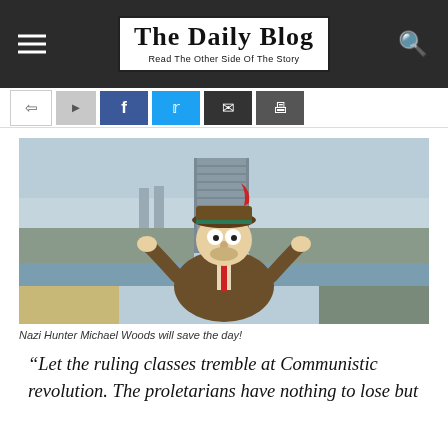The Daily Blog – Read The Other Side Of The Story
[Figure (photo): Cartoon South Park-style character wearing a brown fedora hat with a red feather and brown suit with red tie, arms raised in a shrug pose, composited in front of a real cityscape with a river and large building in the background.]
Nazi Hunter Michael Woods will save the day!
“Let the ruling classes tremble at Communistic revolution. The proletarians have nothing to lose but